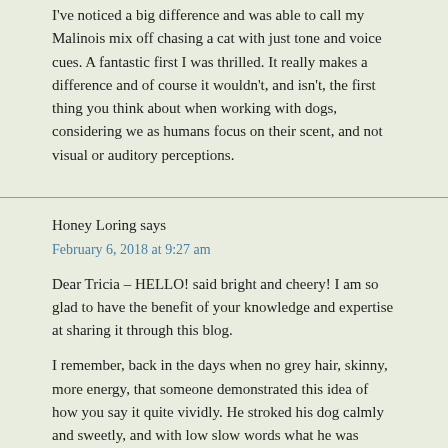I've noticed a big difference and was able to call my Malinois mix off chasing a cat with just tone and voice cues. A fantastic first I was thrilled. It really makes a difference and of course it wouldn't, and isn't, the first thing you think about when working with dogs, considering we as humans focus on their scent, and not visual or auditory perceptions.
Honey Loring says
February 6, 2018 at 9:27 am
Dear Tricia – HELLO! said bright and cheery! I am so glad to have the benefit of your knowledge and expertise at sharing it through this blog.
I remember, back in the days when no grey hair, skinny, more energy, that someone demonstrated this idea of how you say it quite vividly. He stroked his dog calmly and sweetly, and with low slow words what he was saying was something like, "What a bad dog you are, nasty, smelly, badly behaved, terrible." She melted under his touch and tone!
My stop word is simply, "No!" I use it very infrequently and tell